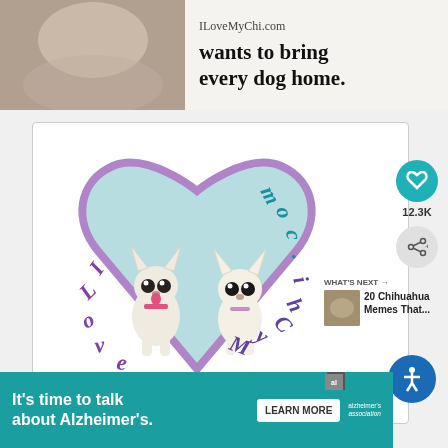[Figure (illustration): Banner advertisement for ILoveMyChi.com showing a dog photo on the left, site name ILoveMyChi.com, and tagline 'wants to bring every dog home' on the right]
[Figure (logo): ILoveMyChi.com logo inside a light blue heart with purple border, featuring two cartoon chihuahua dogs and the text ILoveMyChi.com in purple/teal italic letters]
12.3K
WHAT'S NEXT →
20 Chihuahua Memes That...
[Figure (illustration): Bottom advertisement: It's time to talk about Alzheimer's. LEARN MORE button with Alzheimer's association logo]